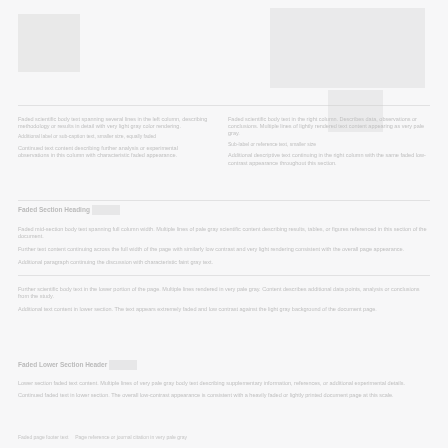[Figure (photo): Faded scientific figure or image, left column upper area, approximately 60x55px]
[Figure (photo): Faded scientific figure or image, right column upper area, approximately 110x75px]
[Figure (photo): Small faded figure, right column]
Faded body text, left column, multiple lines describing scientific content
Faded body text, right column, multiple lines describing scientific content
Faded section header text mid-left
Faded body text mid-section spanning columns
Faded section header lower area
Faded body text lower section
Faded page footer line